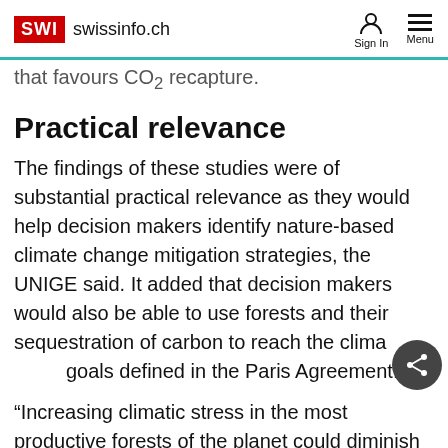SWI swissinfo.ch — Sign In  Menu
that favours CO2 recapture.
Practical relevance
The findings of these studies were of substantial practical relevance as they would help decision makers identify nature-based climate change mitigation strategies, the UNIGE said. It added that decision makers would also be able to use forests and their sequestration of carbon to reach the climate goals defined in the Paris Agreement.
“Increasing climatic stress in the most productive forests of the planet could diminish or even collapse the role of diversity against